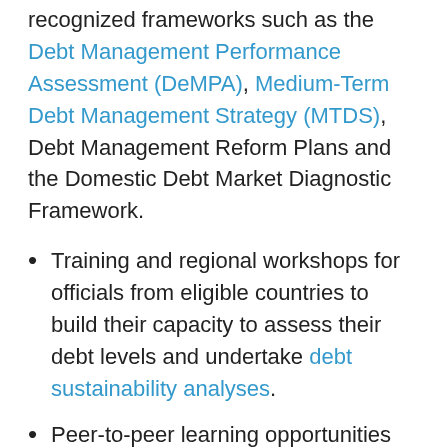recognized frameworks such as the Debt Management Performance Assessment (DeMPA), Medium-Term Debt Management Strategy (MTDS), Debt Management Reform Plans and the Domestic Debt Market Diagnostic Framework.
Training and regional workshops for officials from eligible countries to build their capacity to assess their debt levels and undertake debt sustainability analyses.
Peer-to-peer learning opportunities that promote information sharing between The World Bank, client countries and other stakeholders. This includes the annual DMF